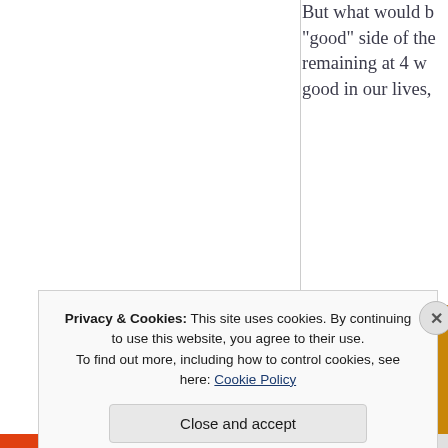But what would be on the "good" side of the remaining at 4 we good in our lives,
Privacy & Cookies: This site uses cookies. By continuing to use this website, you agree to their use.
To find out more, including how to control cookies, see here: Cookie Policy
Close and accept